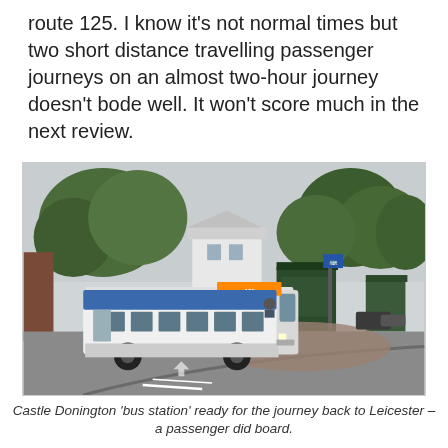route 125. I know it's not normal times but two short distance travelling passenger journeys on an almost two-hour journey doesn't bode well. It won't score much in the next review.
[Figure (photo): A white and blue single-decker bus at Castle Donington bus station, with green bus shelters, trees, and a road junction in the foreground.]
Castle Donington 'bus station' ready for the journey back to Leicester – a passenger did board.